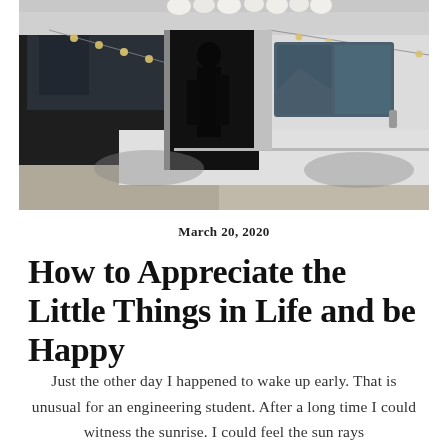[Figure (photo): A white van/camper van with its side door open, string lights hanging from the top, flowers on the roof edge, with mountains and water visible in the background. Dark moody outdoor scene.]
March 20, 2020
How to Appreciate the Little Things in Life and be Happy
Just the other day I happened to wake up early. That is unusual for an engineering student. After a long time I could witness the sunrise. I could feel the sun rays